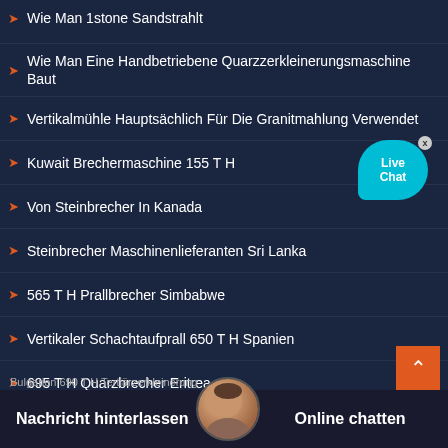Wie Man 1stone Sandstrahlt
Wie Man Eine Handbetriebene Quarzzerkleinerungsmaschine Baut
Vertikalmühle Hauptsächlich Für Die Granitmahlung Verwendet
Kuwait Brechermaschine 155 T H
Von Steinbrecher In Kanada
Steinbrecher Maschinenlieferanten Sri Lanka
565 T H Prallbrecher Simbabwe
Vertikaler Schachtaufprall 650 T H Spanien
695 T H Quarzbrecher Eritrea
Brecher Steinbrecher Formali... Madhya Pradesh
Nachricht hinterlassen   Online chatten
Bulgarien 690 T H Tertiärzerkleinerung